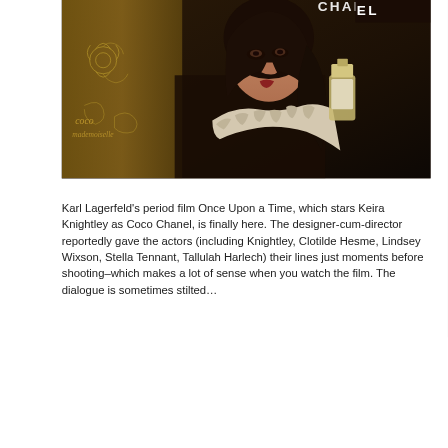[Figure (photo): Promotional photo of Keira Knightley for Chanel Coco Mademoiselle perfume — woman with dark hair, wearing fur, holding perfume bottle, with 'COCO MADEMOISELLE' text visible]
Karl Lagerfeld's period film Once Upon a Time, which stars Keira Knightley as Coco Chanel, is finally here. The designer-cum-director reportedly gave the actors (including Knightley, Clotilde Hesme, Lindsey Wixson, Stella Tennant, Tallulah Harlech) their lines just moments before shooting–which makes a lot of sense when you watch the film. The dialogue is sometimes stilted…
read more...
BANNED FASHION COMMERCIALS
© COPYRIGHT ALLPHOTO LONDON, ALLPHOTO POLAND ALLPHOTO BANGKOK 2014